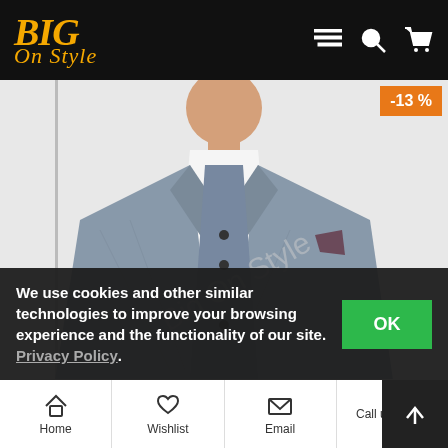[Figure (logo): BIG On Style logo in gold italic serif text on black background with hamburger menu, search, and cart icons]
[Figure (photo): Man wearing a grey three-piece suit with white shirt, standing torso up, with a -13% discount badge in orange top-right corner]
We use cookies and other similar technologies to improve your browsing experience and the functionality of our site. Privacy Policy.
Home | Wishlist | Email | Call us